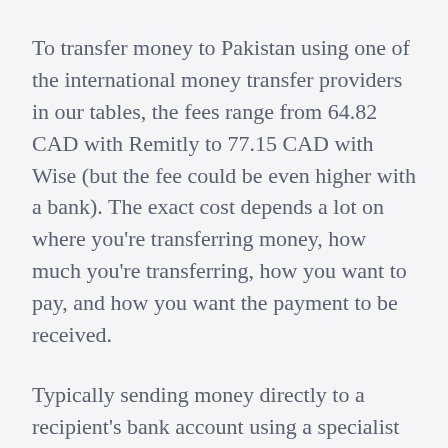To transfer money to Pakistan using one of the international money transfer providers in our tables, the fees range from 64.82 CAD with Remitly to 77.15 CAD with Wise (but the fee could be even higher with a bank). The exact cost depends a lot on where you're transferring money, how much you're transferring, how you want to pay, and how you want the payment to be received.
Typically sending money directly to a recipient's bank account using a specialist service can be done with fairly low costs, while traditional bank